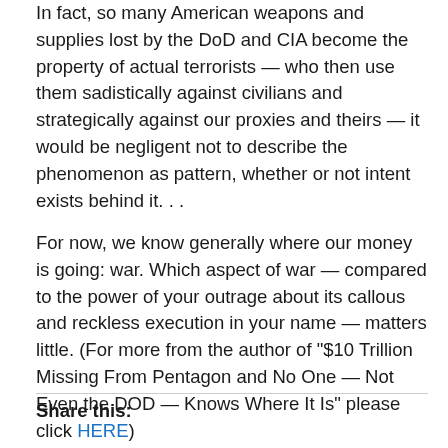In fact, so many American weapons and supplies lost by the DoD and CIA become the property of actual terrorists — who then use them sadistically against civilians and strategically against our proxies and theirs — it would be negligent not to describe the phenomenon as pattern, whether or not intent exists behind it. . .
For now, we know generally where our money is going: war. Which aspect of war — compared to the power of your outrage about its callous and reckless execution in your name — matters little. (For more from the author of "$10 Trillion Missing From Pentagon and No One — Not Even the DOD — Knows Where It Is" please click HERE)
Share this: